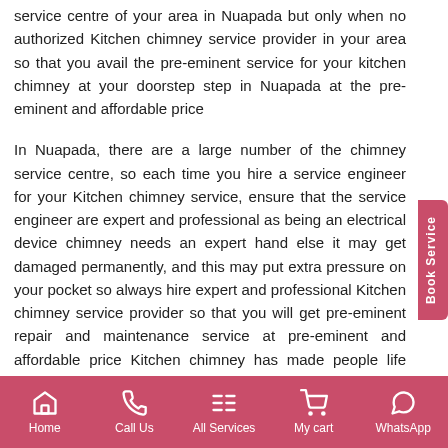service centre of your area in Nuapada but only when no authorized Kitchen chimney service provider in your area so that you avail the pre-eminent service for your kitchen chimney at your doorstep step in Nuapada at the pre-eminent and affordable price
In Nuapada, there are a large number of the chimney service centre, so each time you hire a service engineer for your Kitchen chimney service, ensure that the service engineer are expert and professional as being an electrical device chimney needs an expert hand else it may get damaged permanently, and this may put extra pressure on your pocket so always hire expert and professional Kitchen chimney service provider so that you will get pre-eminent repair and maintenance service at pre-eminent and affordable price Kitchen chimney has made people life easy in Nuapada, so these days chimney has become
Home | Call Us | All Services | My cart | WhatsApp